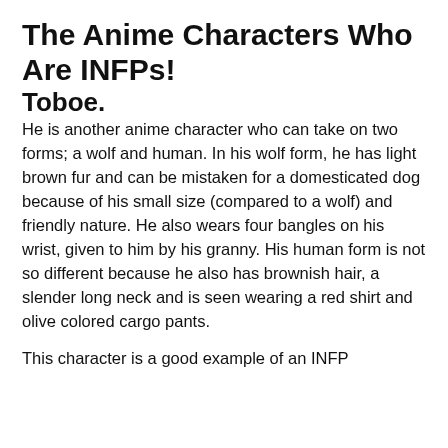The Anime Characters Who Are INFPs!
Toboe.
He is another anime character who can take on two forms; a wolf and human. In his wolf form, he has light brown fur and can be mistaken for a domesticated dog because of his small size (compared to a wolf) and friendly nature. He also wears four bangles on his wrist, given to him by his granny. His human form is not so different because he also has brownish hair, a slender long neck and is seen wearing a red shirt and olive colored cargo pants.
This character is a good example of an INFP